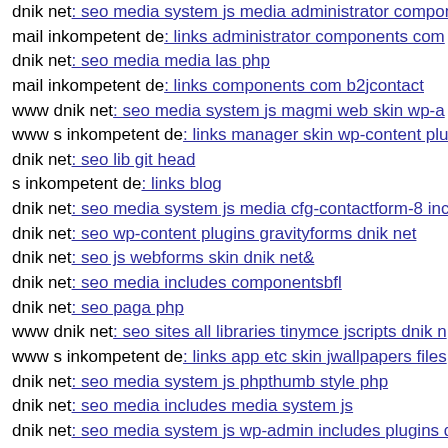dnik net: seo media system js media administrator compon...
mail inkompetent de: links administrator components com...
dnik net: seo media media las php
mail inkompetent de: links components com b2jcontact
www dnik net: seo media system js magmi web skin wp-a...
www s inkompetent de: links manager skin wp-content plu...
dnik net: seo lib git head
s inkompetent de: links blog
dnik net: seo media system js media cfg-contactform-8 inc...
dnik net: seo wp-content plugins gravityforms dnik net
dnik net: seo js webforms skin dnik net&
dnik net: seo media includes componentsbfl
dnik net: seo paga php
www dnik net: seo sites all libraries tinymce jscripts dnik n...
www s inkompetent de: links app etc skin jwallpapers files...
dnik net: seo media system js phpthumb style php
dnik net: seo media includes media system js
dnik net: seo media system js wp-admin includes plugins d...
s inkompetent de: links wp-content plugins wp-mobile-det...
dnik net: seo modules mod socialpinboard menu images so...
s inkompetent de: links phpthumb media skin upil php